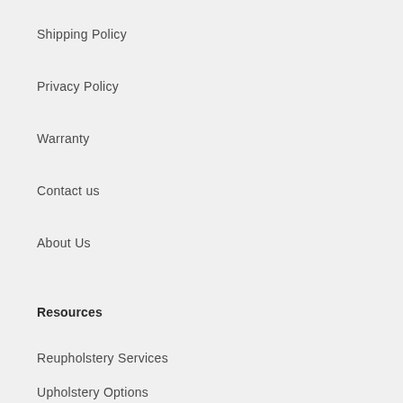Shipping Policy
Privacy Policy
Warranty
Contact us
About Us
Resources
Reupholstery Services
Upholstery Options